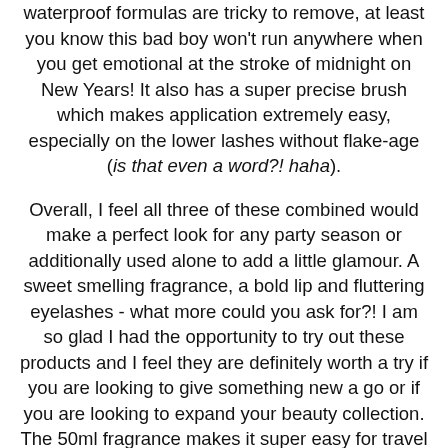waterproof formulas are tricky to remove, at least you know this bad boy won't run anywhere when you get emotional at the stroke of midnight on New Years! It also has a super precise brush which makes application extremely easy, especially on the lower lashes without flake-age (is that even a word?! haha).
Overall, I feel all three of these combined would make a perfect look for any party season or additionally used alone to add a little glamour. A sweet smelling fragrance, a bold lip and fluttering eyelashes - what more could you ask for?! I am so glad I had the opportunity to try out these products and I feel they are definitely worth a try if you are looking to give something new a go or if you are looking to expand your beauty collection. The 50ml fragrance makes it super easy for travel and would make the perfect after Christmas treat! I hope you all enjoyed this post! I would love to know your thoughts on the above products. Like always lovelies, if you have any questions, requests or if you just want a chat you can contact me on my social media or leave me a comment below. I love hearing from you all and I make sure to read every single comment...they really make my day! I have